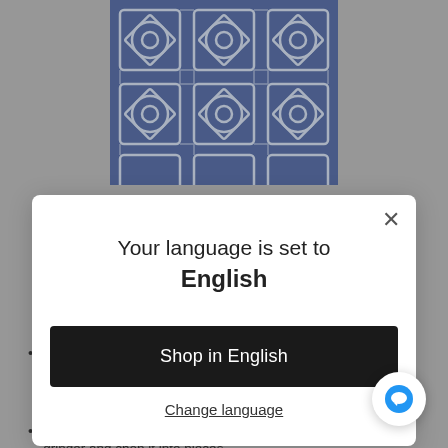[Figure (photo): Blue and white decorative tile pattern with geometric and floral motifs, partially visible at top of page]
[Figure (screenshot): Modal dialog overlay on a web page. Title: 'Your language is set to English'. Black button: 'Shop in English'. Underlined link: 'Change language'. Close (X) button in top right.]
First, workers collect disposed plastics from various sources such as dumps and beaches. After the collection, the plastics are washed to remove dirt and foreign subst...
After the cleaning process, the workers pack the plastic into a grinder and chop it into pieces...